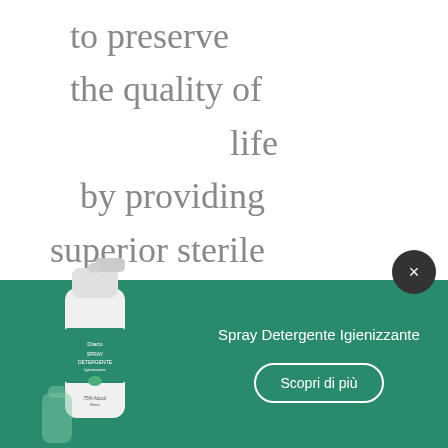to preserve
the quality of
life
by providing
superior sterile
liquid products
[Figure (photo): Spray bottle product labeled 'Diaco SPRAY DETERGENTE Igienizzante' with 75% Alcohol on a green background]
Spray Detergente Igienizzante
Scopri di più